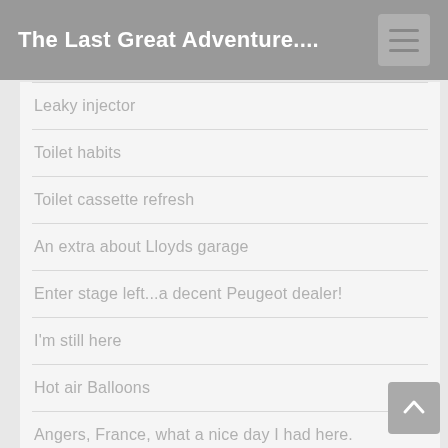The Last Great Adventure....
Leaky injector
Toilet habits
Toilet cassette refresh
An extra about Lloyds garage
Enter stage left...a decent Peugeot dealer!
I'm still here
Hot air Balloons
Angers, France, what a nice day I had here.
Battery equalising